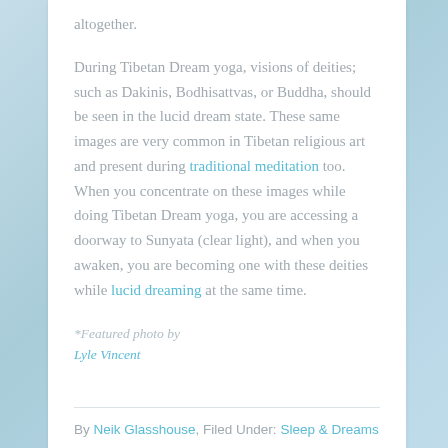altogether.
During Tibetan Dream yoga, visions of deities; such as Dakinis, Bodhisattvas, or Buddha, should be seen in the lucid dream state. These same images are very common in Tibetan religious art and present during traditional meditation too. When you concentrate on these images while doing Tibetan Dream yoga, you are accessing a doorway to Sunyata (clear light), and when you awaken, you are becoming one with these deities while lucid dreaming at the same time.
*Featured photo by Lyle Vincent
By Neik Glasshouse, Filed Under: Sleep & Dreams